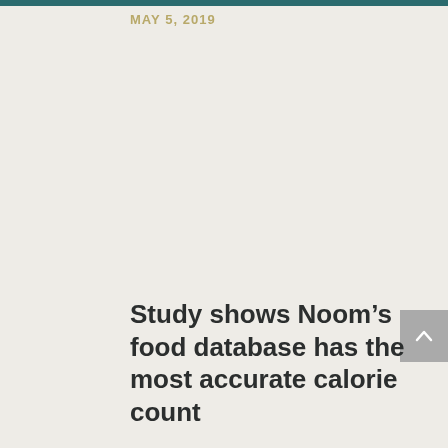MAY 5, 2019
Study shows Noom’s food database has the most accurate calorie count